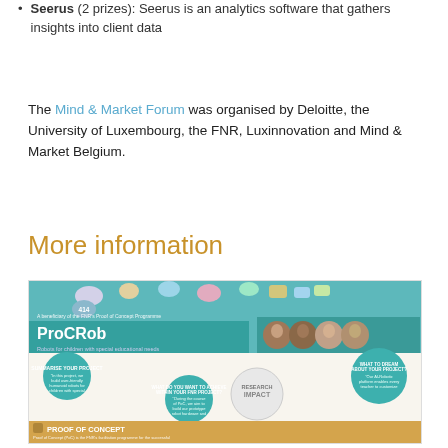Seerus (2 prizes): Seerus is an analytics software that gathers insights into client data
The Mind & Market Forum was organised by Deloitte, the University of Luxembourg, the FNR, Luxinnovation and Mind & Market Belgium.
More information
[Figure (infographic): ProCRob infographic showing a Research Impact diagram for a robot for children with special educational needs, a beneficiary of the FNR's Proof of Concept Programme. Includes summary, what to dream about, next steps sections, and a Proof of Concept explanation panel. Features photos of researchers.]